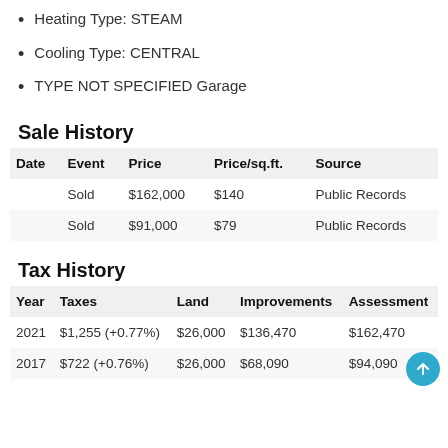Heating Type: STEAM
Cooling Type: CENTRAL
TYPE NOT SPECIFIED Garage
Sale History
| Date | Event | Price | Price/sq.ft. | Source |
| --- | --- | --- | --- | --- |
| Sold | $162,000 | $140 | Public Records |
| Sold | $91,000 | $79 | Public Records |
Tax History
| Year | Taxes | Land | Improvements | Assessment |
| --- | --- | --- | --- | --- |
| 2021 | $1,255 (+0.77%) | $26,000 | $136,470 | $162,470 |
| 2017 | $722 (+0.76%) | $26,000 | $68,090 | $94,090 |